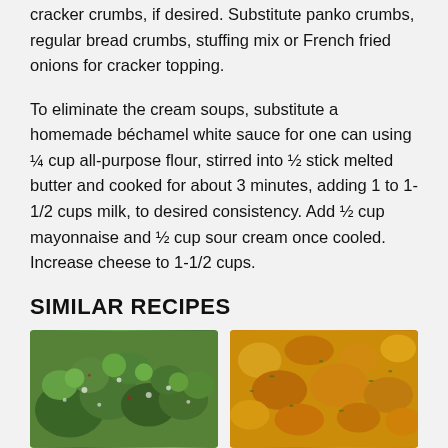cracker crumbs, if desired. Substitute panko crumbs, regular bread crumbs, stuffing mix or French fried onions for cracker topping.
To eliminate the cream soups, substitute a homemade béchamel white sauce for one can using ¼ cup all-purpose flour, stirred into ½ stick melted butter and cooked for about 3 minutes, adding 1 to 1-1/2 cups milk, to desired consistency. Add ½ cup mayonnaise and ½ cup sour cream once cooled. Increase cheese to 1-1/2 cups.
SIMILAR RECIPES
[Figure (photo): Photo of broccoli with white cheese or dressing on top, close-up food photograph]
[Figure (photo): Photo of a cheesy casserole dish with golden browned top, close-up food photograph]